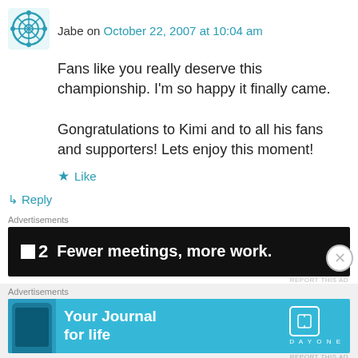Jabe on October 22, 2007 at 10:04 am
Fans like you really deserve this championship. I'm so happy it finally came.

Gongratulations to Kimi and to all his fans and supporters! Lets enjoy this moment!
★ Like
↳ Reply
Advertisements
[Figure (other): Dark advertisement banner: square logo '■2' followed by text 'Fewer meetings, more work.']
REPORT THIS AD
Advertisements
[Figure (other): Blue advertisement banner for Day One app: 'Your Journal for life' with phone image and Day One logo]